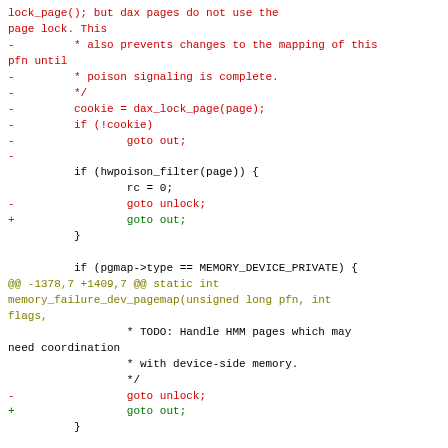Code diff showing changes to memory_failure_dev_pagemap function, including removal of dax_lock_page cookie usage and replacement of goto unlock with goto out statements.